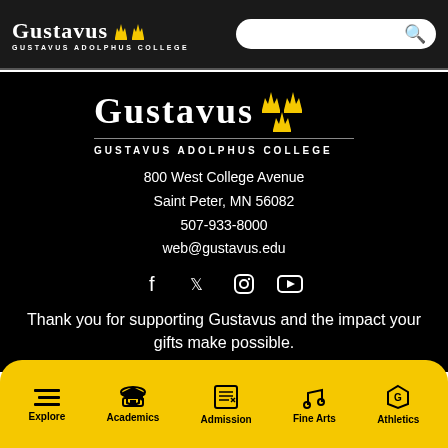[Figure (logo): Gustavus Adolphus College logo in header with search bar]
[Figure (logo): Gustavus Adolphus College large logo in footer section on black background]
800 West College Avenue
Saint Peter, MN 56082
507-933-8000
web@gustavus.edu
[Figure (infographic): Social media icons: Facebook, Twitter, Instagram, YouTube]
Thank you for supporting Gustavus and the impact your gifts make possible.
Explore | Academics | Admission | Fine Arts | Athletics